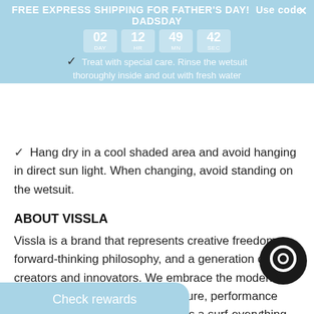FREE EXPRESS SHIPPING FOR FATHER'S DAY! Use code DADSDAY  02 DAY  12 HR  49 MN  42 SEC
✓ Treat with special care. Rinse the wetsuit thoroughly inside and out with fresh water
✓ Hang dry in a cool shaded area and avoid hanging in direct sun light. When changing, avoid standing on the wetsuit.
ABOUT VISSLA
Vissla is a brand that represents creative freedom, a forward-thinking philosophy, and a generation of creators and innovators. We embrace the modern do-it-yourself attitude within surf culture, performance surfing, and craftsmanship. This is a surf-everything and ride-anything mentality.